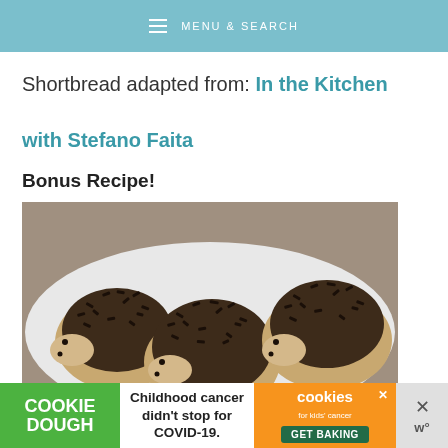MENU & SEARCH
Shortbread adapted from: In the Kitchen with Stefano Faita
Bonus Recipe!
[Figure (photo): Three hedgehog-shaped shortbread cookies dipped in chocolate and covered with chocolate sprinkles, sitting on a white plate.]
COOKIE DOUGH  Childhood cancer didn't stop for COVID-19.  cookies for kids' cancer  GET BAKING  ×  w°